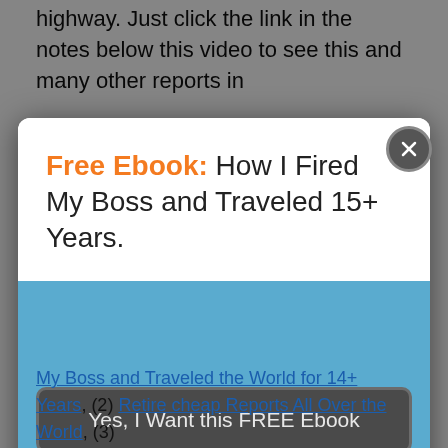highway. Just click the link in the notes below this video to see this and many other reports in
[Figure (screenshot): Modal popup with white top section and blue bottom section. Top section contains orange bold 'Free Ebook:' followed by thin text 'How I Fired My Boss and Traveled 15+ Years.' Blue section contains a dark gray button labeled 'Yes, I Want this FREE Ebook'. A circular close button with X is in the top-right corner of the modal.]
My Boss and Traveled the World for 14+ Years, (2) Retire cheap Reports All Over the World, (3)